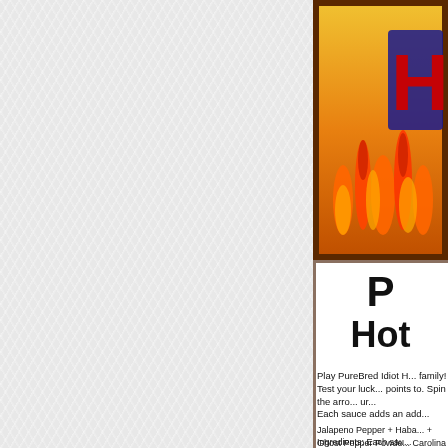[Figure (illustration): Product box art showing flames and letter H in red/blue, on orange/gold background with dark brown border]
P
Hot
Play PureBred Idiot H... family! Test your luck... points to. Spin the arro... un...
Each sauce adds an add...
Jalapeno Pepper + Haba... + Ghost Pepper Powde... Carolina Reaper Pepper... S...
Ingredients: Each sau... increase...